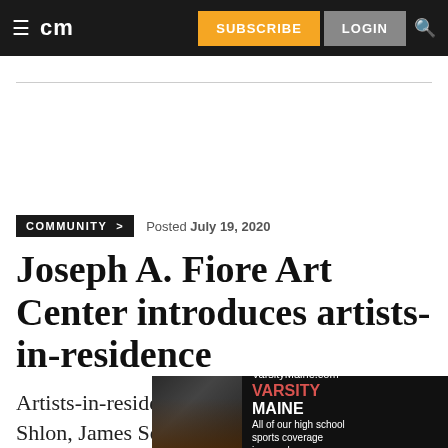cm | SUBSCRIBE | LOGIN
COMMUNITY > Posted July 19, 2020
Joseph A. Fiore Art Center introduces artists-in-residence
Artists-in-residence include Katie Addada Shlon, James Southard, Sophie Kelmenson and
[Figure (photo): VarsityMaine.com advertisement banner showing football players and text: All of our high school sports coverage in one place]